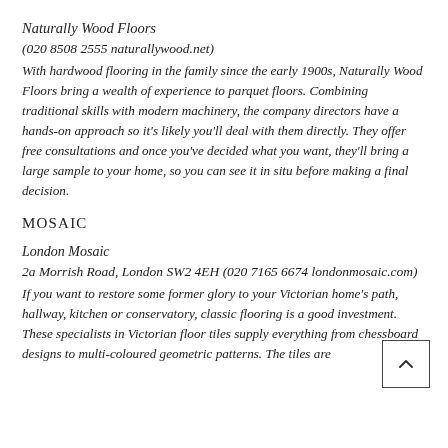Naturally Wood Floors
(020 8508 2555 naturallywood.net)
With hardwood flooring in the family since the early 1900s, Naturally Wood Floors bring a wealth of experience to parquet floors. Combining traditional skills with modern machinery, the company directors have a hands-on approach so it’s likely you’ll deal with them directly. They offer free consultations and once you’ve decided what you want, they’ll bring a large sample to your home, so you can see it in situ before making a final decision.
MOSAIC
London Mosaic
2a Morrish Road, London SW2 4EH (020 7165 6674 londonmosaic.com)
If you want to restore some former glory to your Victorian home’s path, hallway, kitchen or conservatory, classic flooring is a good investment. These specialists in Victorian floor tiles supply everything from chessboard designs to multi-coloured geometric patterns. The tiles are